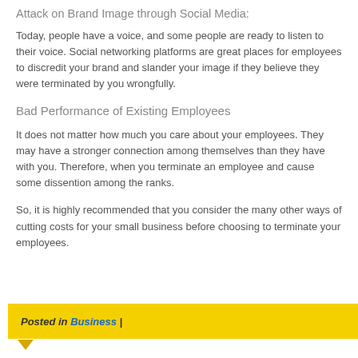Attack on Brand Image through Social Media:
Today, people have a voice, and some people are ready to listen to their voice. Social networking platforms are great places for employees to discredit your brand and slander your image if they believe they were terminated by you wrongfully.
Bad Performance of Existing Employees
It does not matter how much you care about your employees. They may have a stronger connection among themselves than they have with you. Therefore, when you terminate an employee and cause some dissention among the ranks.
So, it is highly recommended that you consider the many other ways of cutting costs for your small business before choosing to terminate your employees.
Posted in Business |